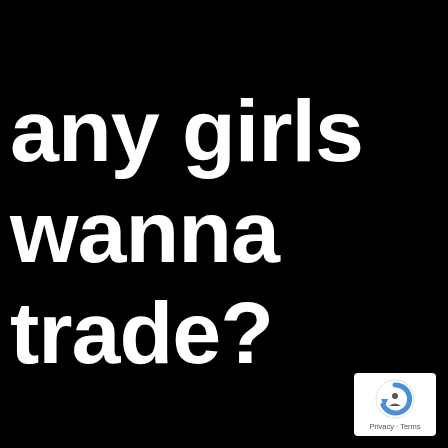any girls wanna trade?
[Figure (logo): reCAPTCHA badge with circular arrow icon and 'Privacy · Terms' text]